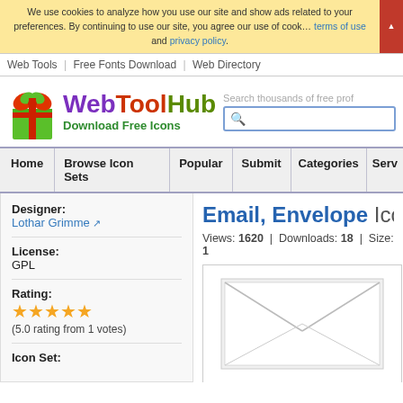We use cookies to analyze how you use our site and show ads related to your preferences. By continuing to use our site, you agree our use of cookies, terms of use and privacy policy.
Web Tools | Free Fonts Download | Web Directory
[Figure (logo): WebToolHub logo with gift box image and text 'WebToolHub Download Free Icons']
Search thousands of free prof...
Home | Browse Icon Sets | Popular | Submit | Categories | Serv...
Designer: Lothar Grimme
License: GPL
Rating: 5.0 rating from 1 votes
Icon Set:
Email, Envelope Icon
Views: 1620 | Downloads: 18 | Size: 1
[Figure (illustration): Email envelope icon preview - white envelope with diagonal lines forming flap]